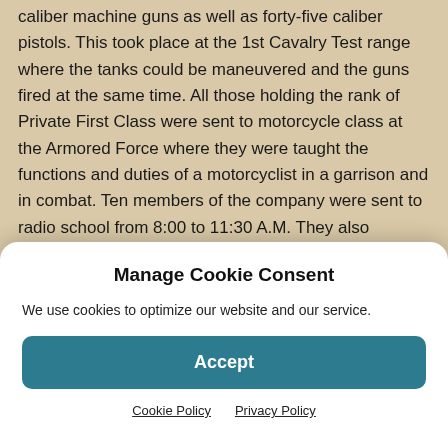caliber machine guns as well as forty-five caliber pistols. This took place at the 1st Cavalry Test range where the tanks could be maneuvered and the guns fired at the same time. All those holding the rank of Private First Class were sent to motorcycle class at the Armored Force where they were taught the functions and duties of a motorcyclist in a garrison and in combat. Ten members of the company were sent to radio school from 8:00 to 11:30 A.M. They also received their government-issued toiletries. Each man received two face towels and one bath towel, a razor, tooth and shaving brushes, and another pair of
Manage Cookie Consent
We use cookies to optimize our website and our service.
Accept
Cookie Policy   Privacy Policy